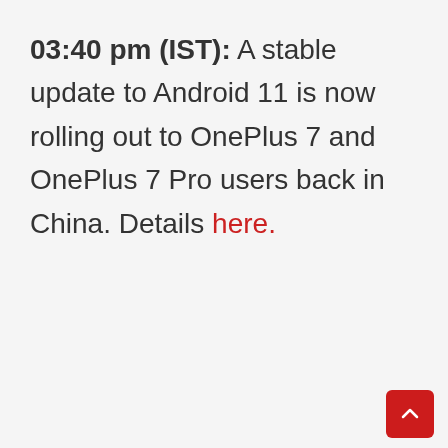03:40 pm (IST): A stable update to Android 11 is now rolling out to OnePlus 7 and OnePlus 7 Pro users back in China. Details here.
[Figure (screenshot): White content card area with floating action buttons: a red heart/like button, a count of 4, a white share button, and a red scroll-to-top button at the bottom right]